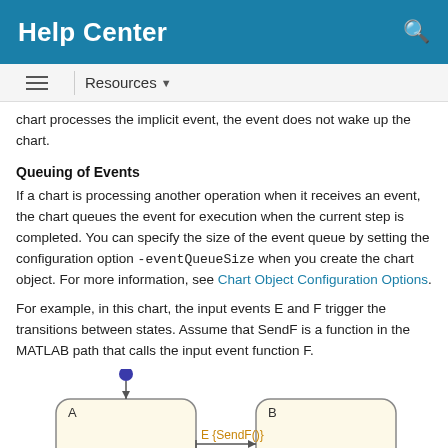Help Center
Resources
chart processes the implicit event, the event does not wake up the chart.
Queuing of Events
If a chart is processing another operation when it receives an event, the chart queues the event for execution when the current step is completed. You can specify the size of the event queue by setting the configuration option -eventQueueSize when you create the chart object. For more information, see Chart Object Configuration Options.
For example, in this chart, the input events E and F trigger the transitions between states. Assume that SendF is a function in the MATLAB path that calls the input event function F.
[Figure (flowchart): State chart diagram showing states A and B with a transition labeled E {SendF()} and an initial transition arrow pointing to state A. State A has a filled circle above it indicating the initial state.]